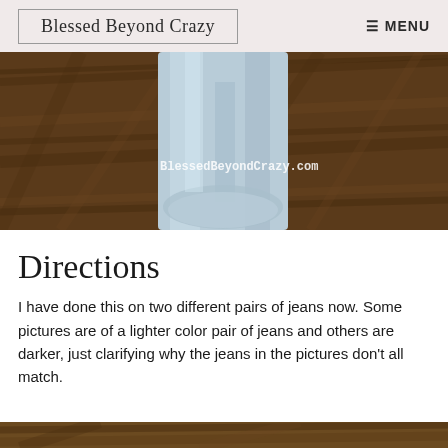Blessed Beyond Crazy   ☰ MENU
[Figure (photo): A close-up photo of a light blue rolled/folded piece of fabric or jeans leg on a dark wood floor. A watermark reads 'BlessedBeyondCrazy.com' in white monospace text.]
Directions
I have done this on two different pairs of jeans now. Some pictures are of a lighter color pair of jeans and others are darker, just clarifying why the jeans in the pictures don't all match.
[Figure (photo): Partial view of a second photo at the bottom edge of the page showing a darker wood floor.]